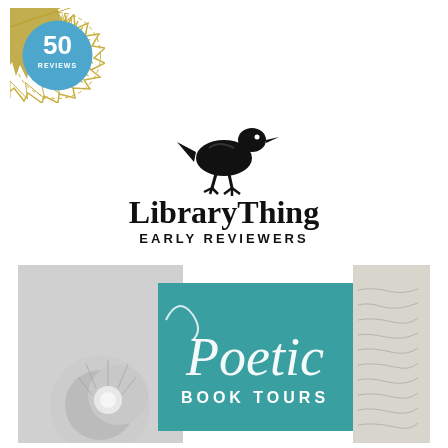[Figure (logo): Badge with '50 REVIEWS' in a blue circle with a decorative gold star/diamond border]
[Figure (logo): LibraryThing Early Reviewers logo: black silhouette of a running bird above the text 'LibraryThing EARLY REVIEWERS']
[Figure (logo): Poetic Book Tours banner: teal rectangle with cursive 'Poetic' and 'BOOK TOURS' text, flanked by black-and-white dandelion photo on left and vintage handwritten script photo on right]